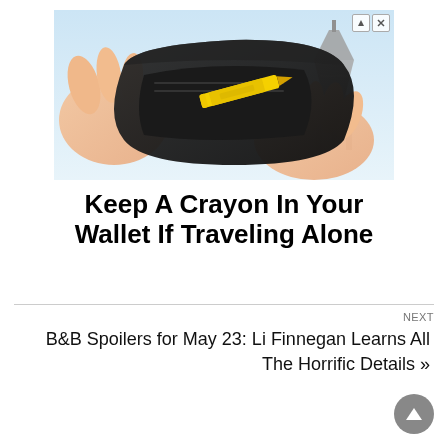[Figure (photo): An open empty dark wallet held in hands against a Paris Eiffel Tower background, with a yellow crayon inside the wallet.]
Keep A Crayon In Your Wallet If Traveling Alone
NEXT
B&B Spoilers for May 23: Li Finnegan Learns All The Horrific Details »